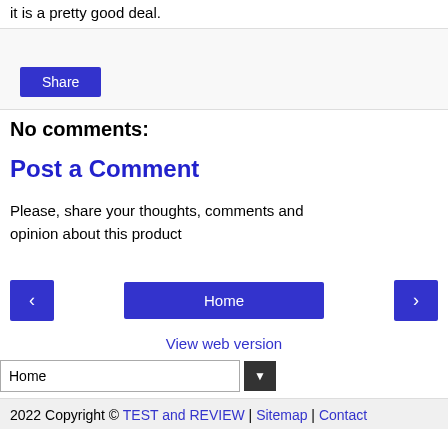it is a pretty good deal.
[Figure (other): Share button area with light gray background and a blue Share button]
No comments:
Post a Comment
Please, share your thoughts, comments and opinion about this product
[Figure (other): Navigation bar with left arrow button, Home button, and right arrow button]
View web version
[Figure (other): Home dropdown selector with arrow button]
2022 Copyright © TEST and REVIEW | Sitemap | Contact